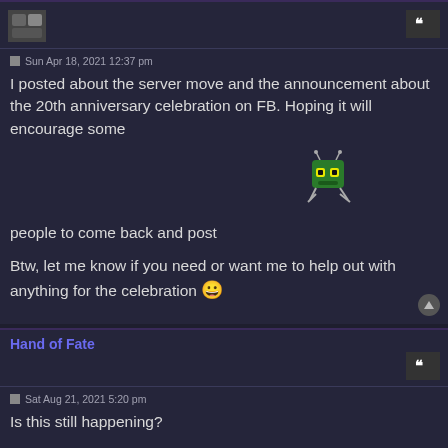Sun Apr 18, 2021 12:37 pm
I posted about the server move and the announcement about the 20th anniversary celebration on FB. Hoping it will encourage some people to come back and post
[Figure (illustration): Pixel art alien/bug emoji]
Btw, let me know if you need or want me to help out with anything for the celebration 😀
Hand of Fate
Sat Aug 21, 2021 5:20 pm
Is this still happening?